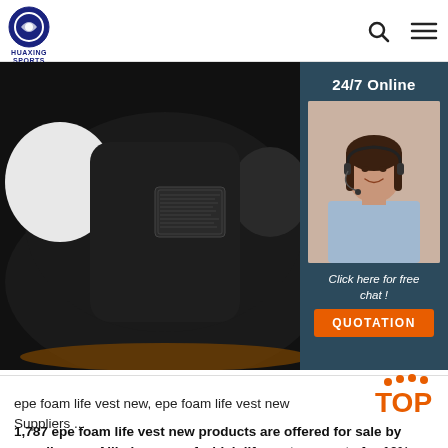HUAXING SPORTS
[Figure (photo): Close-up photo of a black neoprene back support/posture corrector vest with label, against white background, partial view showing shoulder cutouts.]
[Figure (photo): 24/7 Online customer service widget showing a female agent with headset, with 'Click here for free chat!' text and an orange QUOTATION button.]
epe foam life vest new, epe foam life vest new Suppliers ...
1,787 epe foam life vest new products are offered for sale by suppliers on Alibaba.com, of which life vest accounts for 10%, men's vests & waistcoats